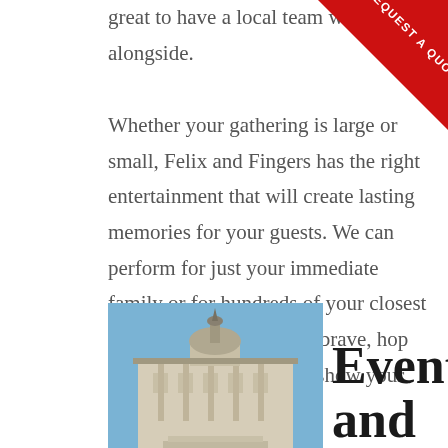great to have a local team we love alongside.
[Figure (illustration): Red diagonal corner ribbon banner with white text 'REQUEST A QUOTE']
Whether your gathering is large or small, Felix and Fingers has the right entertainment that will create lasting memories for your guests. We can perform for just your immediate family or for hundreds of your closest friends. If you're feeling brave, hop up on stage with us, and show your friends how it's done!
[Figure (photo): Photo of a historic building with a dome/cupola against a blue sky]
Events and